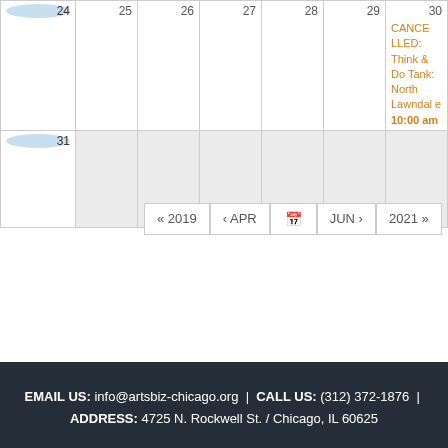| 24 | 25 | 26 | 27 | 28 | 29 | 30 |
| --- | --- | --- | --- | --- | --- | --- |
|  |  |  |  |  |  | CANCELLED: Think & Do Tank: North Lawndale 10:00 am |
| 31 |  |  |  |  |  |  |
« 2019  ‹ APR  [calendar icon]  JUN ›  2021 »
EMAIL US: info@artsbiz-chicago.org  |  CALL US: (312) 372-1876  |  ADDRESS: 4725 N. Rockwell St. / Chicago, IL 60625